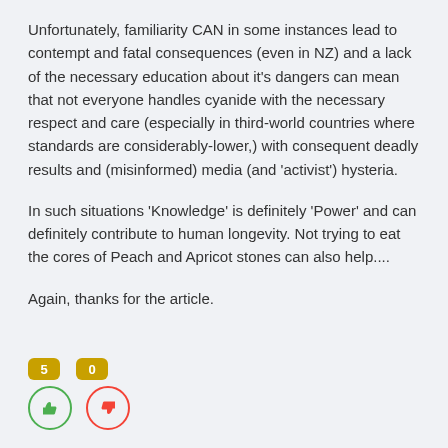Unfortunately, familiarity CAN in some instances lead to contempt and fatal consequences (even in NZ) and a lack of the necessary education about it's dangers can mean that not everyone handles cyanide with the necessary respect and care (especially in third-world countries where standards are considerably-lower,) with consequent deadly results and (misinformed) media (and 'activist') hysteria.
In such situations 'Knowledge' is definitely 'Power' and can definitely contribute to human longevity. Not trying to eat the cores of Peach and Apricot stones can also help....
Again, thanks for the article.
[Figure (other): Reaction buttons: thumbs up with badge showing 5, thumbs down with badge showing 0]